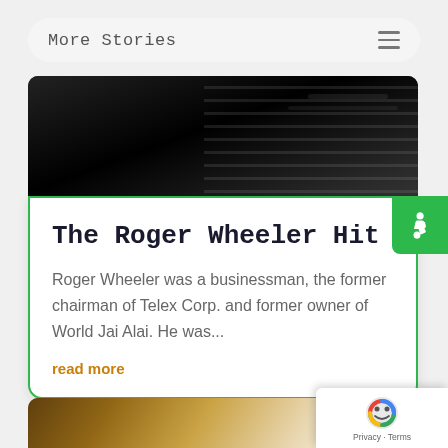More Stories
[Figure (photo): Dark black and white photo showing what appears to be a car interior or mechanical grill/vent detail]
The Roger Wheeler Hit
Roger Wheeler was a businessman, the former chairman of Telex Corp. and former owner of World Jai Alai. He was...
read more
[Figure (photo): Partial view of a second story card with a warm-toned image at the bottom of the page]
[Figure (other): Google reCAPTCHA badge with Privacy and Terms links]